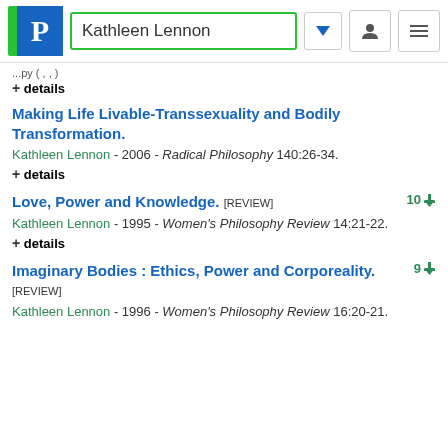Kathleen Lennon
+ details
Making Life Livable-Transsexuality and Bodily Transformation.
Kathleen Lennon - 2006 - Radical Philosophy 140:26-34.
+ details
Love, Power and Knowledge. [REVIEW]
10
Kathleen Lennon - 1995 - Women's Philosophy Review 14:21-22.
+ details
Imaginary Bodies : Ethics, Power and Corporeality. [REVIEW]
9
Kathleen Lennon - 1996 - Women's Philosophy Review 16:20-21.